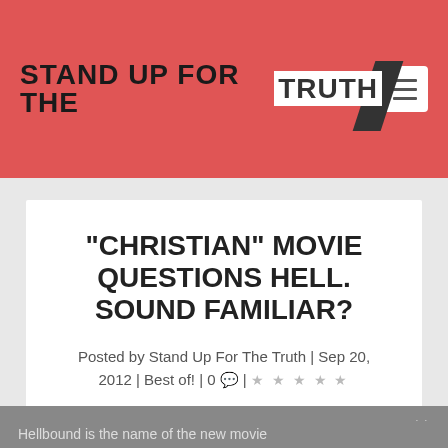STAND UP FOR THE TRUTH
"CHRISTIAN" MOVIE QUESTIONS HELL. SOUND FAMILIAR?
Posted by Stand Up For The Truth | Sep 20, 2012 | Best of! | 0 💬 |
Share This ∨ ✕
Hellbound is the name of the new movie